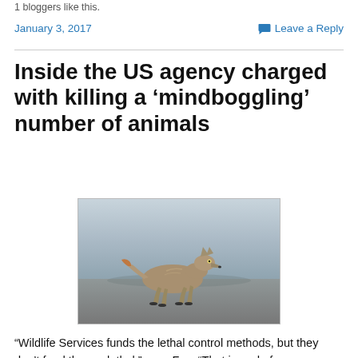1 bloggers like this.
January 3, 2017    Leave a Reply
Inside the US agency charged with killing a ‘mindboggling’ number of animals
[Figure (photo): A coyote walking across a flat, grey open landscape. The animal is grey-brown with orange-tinged fur on its legs and hindquarters.]
“Wildlife Services funds the lethal control methods, but they don’t fund the nonlethal,” says Fox. “That in and of